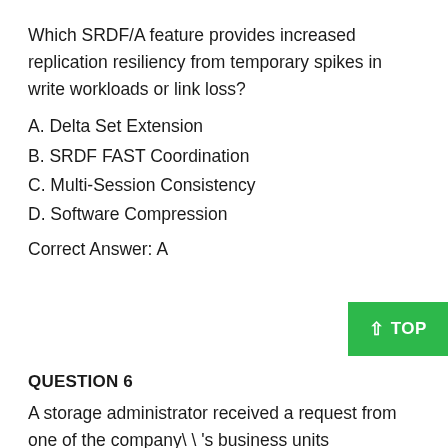Which SRDF/A feature provides increased replication resiliency from temporary spikes in write workloads or link loss?
A. Delta Set Extension
B. SRDF FAST Coordination
C. Multi-Session Consistency
D. Software Compression
Correct Answer: A
[Figure (other): Green TOP button with upward arrow]
QUESTION 6
A storage administrator received a request from one of the company\'s business units